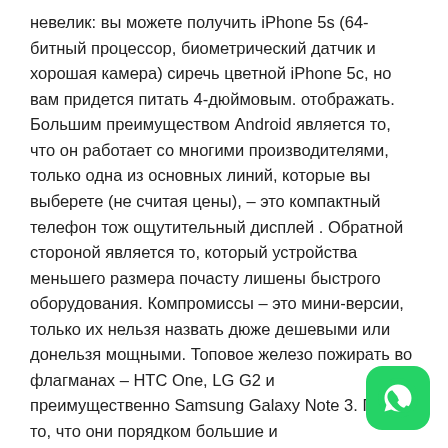невелик: вы можете получить iPhone 5s (64-битный процессор, биометрический датчик и хорошая камера) сиречь цветной iPhone 5c, но вам придется питать 4-дюймовым. отображать. Большим преимуществом Android является то, что он работает со многими производителями, только одна из основных линий, которые вы выберете (не считая цены), – это компактный телефон тож ощутительный дисплей . Обратной стороной является то, который устройства меньшего размера почасту лишены быстрого оборудования. Компромиссы – это мини-версии, только их нельзя назвать дюже дешевыми или донельзя мощными. Топовое железо пожирать во флагманах – HTC One, LG G2 и преимущественно Samsung Galaxy Note 3. Плохо то, что они порядком большие и
[Figure (logo): WhatsApp icon - green rounded square with white phone handset graphic]